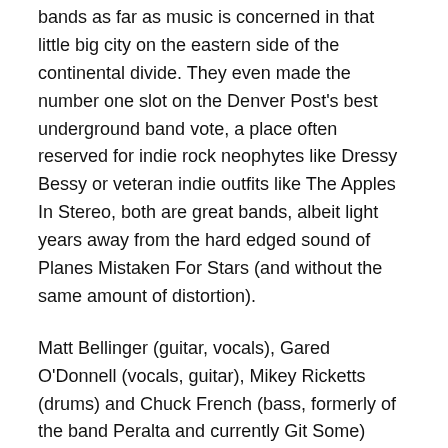bands as far as music is concerned in that little big city on the eastern side of the continental divide. They even made the number one slot on the Denver Post's best underground band vote, a place often reserved for indie rock neophytes like Dressy Bessy or veteran indie outfits like The Apples In Stereo, both are great bands, albeit light years away from the hard edged sound of Planes Mistaken For Stars (and without the same amount of distortion).
Matt Bellinger (guitar, vocals), Gared O'Donnell (vocals, guitar), Mikey Ricketts (drums) and Chuck French (bass, formerly of the band Peralta and currently Git Some) comprise this powerful combination of post hardcore music and straight from the gut honesty that has left bystanders speechless and made a fan out of many a skeptic in a commercialized state of “the next new thing.”